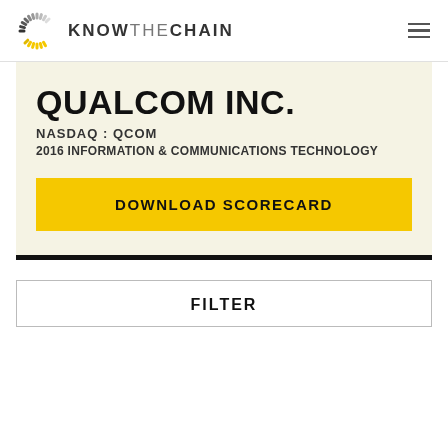KNOW THE CHAIN
QUALCOM INC.
NASDAQ : QCOM
2016 INFORMATION & COMMUNICATIONS TECHNOLOGY
DOWNLOAD SCORECARD
FILTER